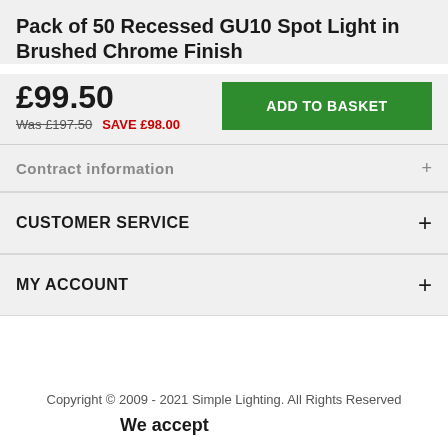Pack of 50 Recessed GU10 Spot Light in Brushed Chrome Finish
£99.50
Was £197.50  SAVE £98.00
CUSTOMER SERVICE
MY ACCOUNT
Copyright © 2009 - 2021 Simple Lighting. All Rights Reserved
We accept